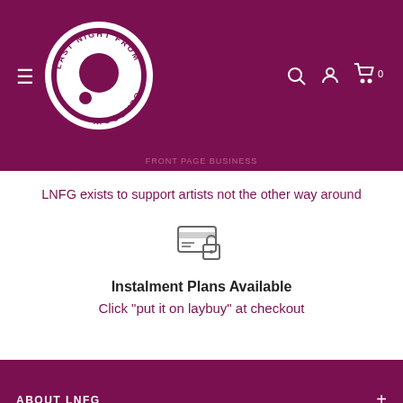[Figure (logo): Last Night From Glasgow circular logo with white background on dark maroon/purple header, with hamburger menu icon on left and search, account, cart icons on right]
LNFG exists to support artists not the other way around
[Figure (illustration): Secure payment / instalment plan icon: credit card with a padlock overlay]
Instalment Plans Available
Click "put it on laybuy" at checkout
ABOUT LNFG
FOOTER MENU
Fragen? Wir können helfen. Chatte jetzt mit uns.